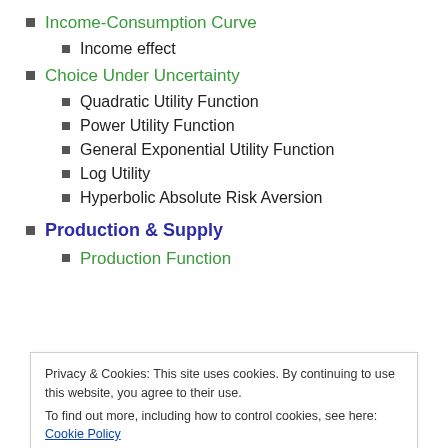Income-Consumption Curve
Income effect
Choice Under Uncertainty
Quadratic Utility Function
Power Utility Function
General Exponential Utility Function
Log Utility
Hyperbolic Absolute Risk Aversion
Production & Supply
Production Function
Privacy & Cookies: This site uses cookies. By continuing to use this website, you agree to their use.
To find out more, including how to control cookies, see here: Cookie Policy
Close and accept